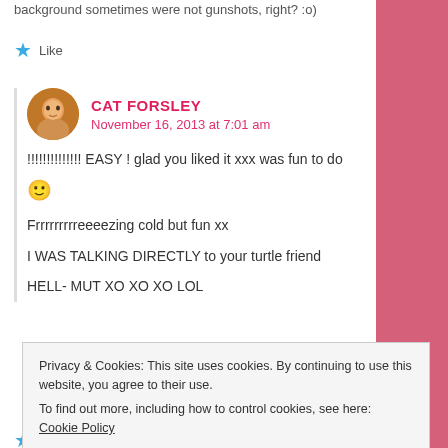background sometimes were not gunshots, right? :o)
Like
CAT FORSLEY
November 16, 2013 at 7:01 am
!!!!!!!!!!!!!! EASY ! glad you liked it xxx was fun to do 🙂
Frrrrrrrreeeezing cold but fun xx
I WAS TALKING DIRECTLY to your turtle friend
HELL- MUT XO XO XO LOL
Privacy & Cookies: This site uses cookies. By continuing to use this website, you agree to their use.
To find out more, including how to control cookies, see here: Cookie Policy
Close and accept
Like